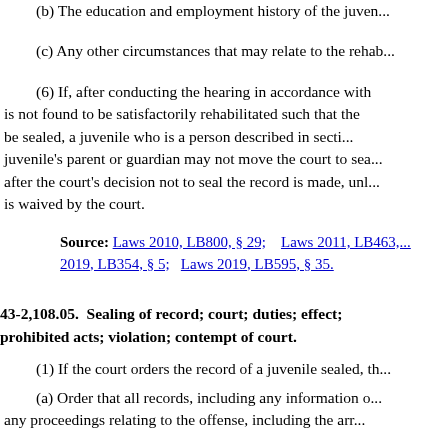(b) The education and employment history of the juven...
(c) Any other circumstances that may relate to the rehab...
(6) If, after conducting the hearing in accordance with... is not found to be satisfactorily rehabilitated such that the... be sealed, a juvenile who is a person described in secti... juvenile's parent or guardian may not move the court to sea... after the court's decision not to seal the record is made, unl... is waived by the court.
Source: Laws 2010, LB800, § 29;    Laws 2011, LB463,... 2019, LB354, § 5;    Laws 2019, LB595, § 35.
43-2,108.05. Sealing of record; court; duties; effect; prohibited acts; violation; contempt of court.
(1) If the court orders the record of a juvenile sealed, th...
(a) Order that all records, including any information o... any proceedings relating to the offense, including the arr...